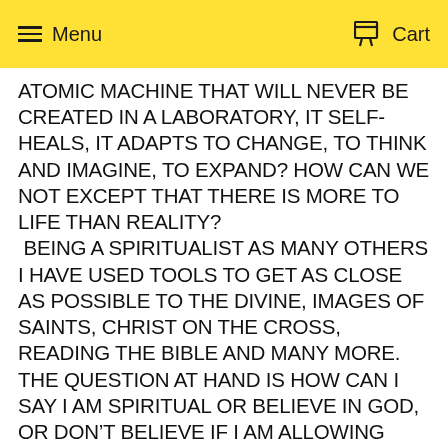Menu  Cart
ATOMIC MACHINE THAT WILL NEVER BE CREATED IN A LABORATORY, IT SELF-HEALS, IT ADAPTS TO CHANGE, TO THINK AND IMAGINE, TO EXPAND? HOW CAN WE NOT EXCEPT THAT THERE IS MORE TO LIFE THAN REALITY?  BEING A SPIRITUALIST AS MANY OTHERS I HAVE USED TOOLS TO GET AS CLOSE AS POSSIBLE TO THE DIVINE, IMAGES OF SAINTS, CHRIST ON THE CROSS, READING THE BIBLE AND MANY MORE. THE QUESTION AT HAND IS HOW CAN I SAY I AM SPIRITUAL OR BELIEVE IN GOD, OR DON'T BELIEVE IF I AM ALLOWING REALITY TO KEEP MY SIGHT ON WHAT IS A PRESENT PROBLEM “REAL”-“REALITY”
SPIRITUAL IS IN ONE PART TO KNOW WITH EYES CLOSED THAT THE DIVINE IS WORKING